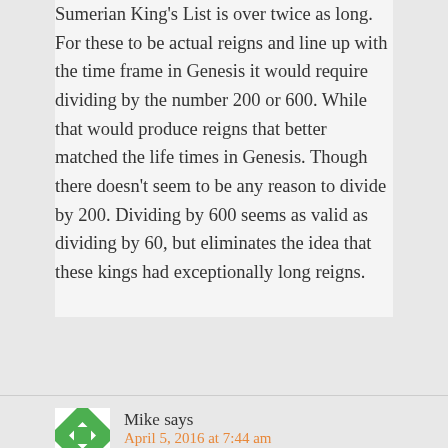Sumerian King's List is over twice as long. For these to be actual reigns and line up with the time frame in Genesis it would require dividing by the number 200 or 600. While that would produce reigns that better matched the life times in Genesis. Though there doesn't seem to be any reason to divide by 200. Dividing by 600 seems as valid as dividing by 60, but eliminates the idea that these kings had exceptionally long reigns.
[Figure (illustration): Green and white geometric quilt-pattern avatar icon for commenter Mike]
Mike says
April 5, 2016 at 7:44 am